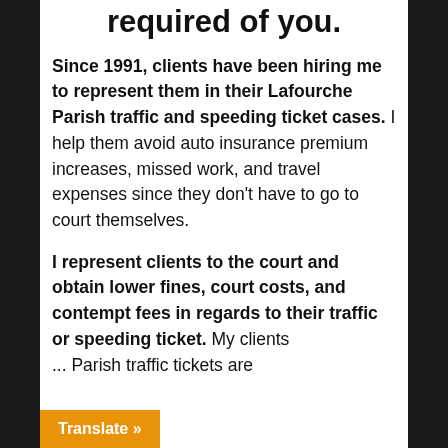required of you.
Since 1991, clients have been hiring me to represent them in their Lafourche Parish traffic and speeding ticket cases. I help them avoid auto insurance premium increases, missed work, and travel expenses since they don't have to go to court themselves.
I represent clients to the court and obtain lower fines, court costs, and contempt fees in regards to their traffic or speeding ticket. My clients … Parish traffic tickets are
Translate »